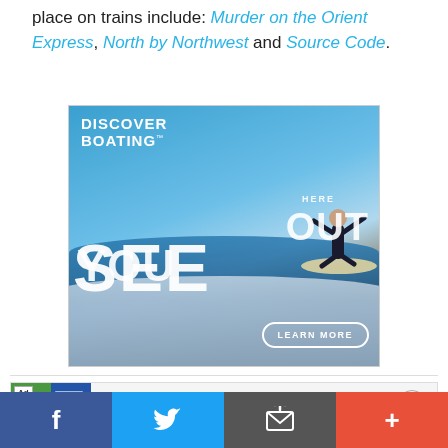place on trains include: Murder on the Orient Express, North by Northwest and Source Code.
[Figure (photo): Discover Boating advertisement showing a surfer on a wave with text 'HERE OUT YOU SEE' and a LEARN MORE button]
[Figure (infographic): BitLife - Life Simulator mobile app advertisement with Install! button]
[Figure (infographic): Social sharing bar with Facebook, Twitter, email, and more buttons]